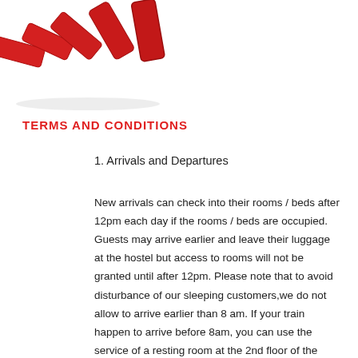[Figure (illustration): Red domino tiles falling in a row, shown from above at an angle, on a white background.]
TERMS AND CONDITIONS
1. Arrivals and Departures
New arrivals can check into their rooms / beds after 12pm each day if the rooms / beds are occupied. Guests may arrive earlier and leave their luggage at the hostel but access to rooms will not be granted until after 12pm. Please note that to avoid disturbance of our sleeping customers,we do not allow to arrive earlier than 8 am. If your train happen to arrive before 8am, you can use the service of a resting room at the 2nd floor of the train station or you can have a nice long breakfast